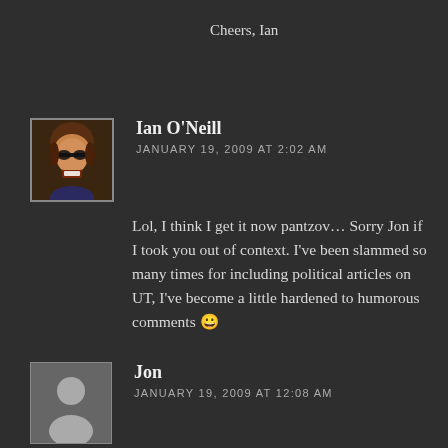Cheers, Ian
Ian O'Neill
JANUARY 19, 2009 AT 2:02 AM
Lol, I think I get it now pantzov… Sorry Jon if I took you out of context. I've been slammed so many times for including political articles on UT, I've become a little hardened to humorous comments 😀
Jon
JANUARY 19, 2009 AT 12:08 AM